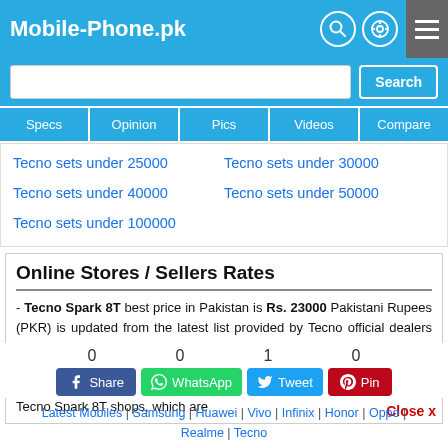Mobile-Phone.pk
Specs
Opinion
Pics
Videos
Compare
Tecno sets under 25000
Tecno sets under 30000
Tecno sets under 40000
Tecno sets under 50000
Tecno sets under 100000
Online Stores / Sellers Rates
- Tecno Spark 8T best price in Pakistan is Rs. 23000 Pakistani Rupees (PKR) is updated from the latest list provided by Tecno official dealers and warranty providers which is valid all over Pakistan including Karachi, Lahore, Islamabad, Peshawar, Quetta and Muzaffarabad.
- Buy new Tecno Spark 8T pin pack from the best online stores or local Tecno Spark 8T shops, which are
Latest Mobiles | Samsung | Huawei | Vivo | Infinix | Honor | Oppo | Realme | Tecno